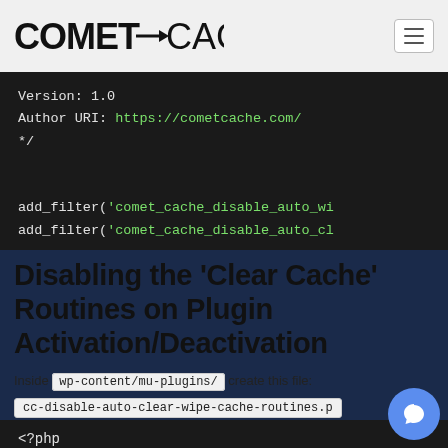COMET CACHE
[Figure (screenshot): Code block showing PHP plugin header: Version: 1.0, Author URI: https://cometcache.com/, */ and add_filter calls for comet_cache_disable_auto_wi and comet_cache_disable_auto_cl]
Disabling the 'Clear Cache' Routines on Plugin Activation/Deactivation
Inside wp-content/mu-plugins/ create this file:
cc-disable-auto-clear-wipe-cache-routines.p
:
[Figure (screenshot): Code block beginning with <?php]